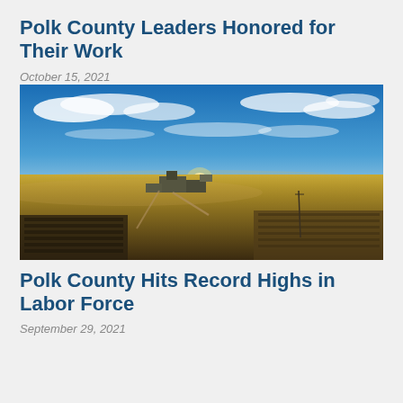Polk County Leaders Honored for Their Work
October 15, 2021
[Figure (photo): Aerial drone photograph of a rural industrial facility at sunset, with dramatic blue sky, scattered clouds, golden sunlight near the horizon, misty fields, and agricultural/industrial structures below.]
Polk County Hits Record Highs in Labor Force
September 29, 2021